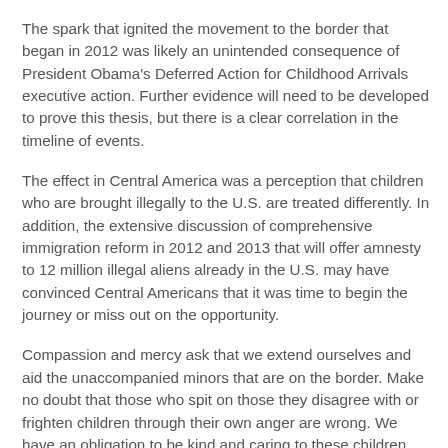The spark that ignited the movement to the border that began in 2012 was likely an unintended consequence of President Obama's Deferred Action for Childhood Arrivals executive action. Further evidence will need to be developed to prove this thesis, but there is a clear correlation in the timeline of events.
The effect in Central America was a perception that children who are brought illegally to the U.S. are treated differently. In addition, the extensive discussion of comprehensive immigration reform in 2012 and 2013 that will offer amnesty to 12 million illegal aliens already in the U.S. may have convinced Central Americans that it was time to begin the journey or miss out on the opportunity.
Compassion and mercy ask that we extend ourselves and aid the unaccompanied minors that are on the border. Make no doubt that those who spit on those they disagree with or frighten children through their own anger are wrong. We have an obligation to be kind and caring to these children while they are in U.S. custody.